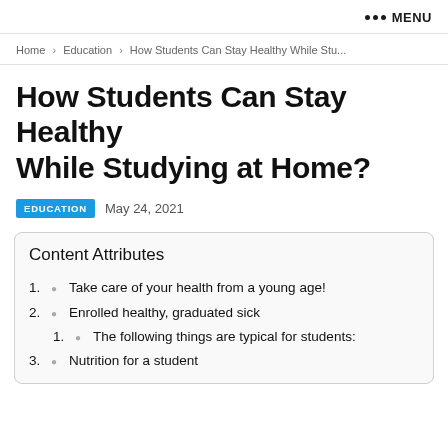••• MENU
Home › Education › How Students Can Stay Healthy While Stu...
How Students Can Stay Healthy While Studying at Home?
EDUCATION   May 24, 2021
Content Attributes
1. Take care of your health from a young age!
2. Enrolled healthy, graduated sick
1. The following things are typical for students:
3. Nutrition for a student